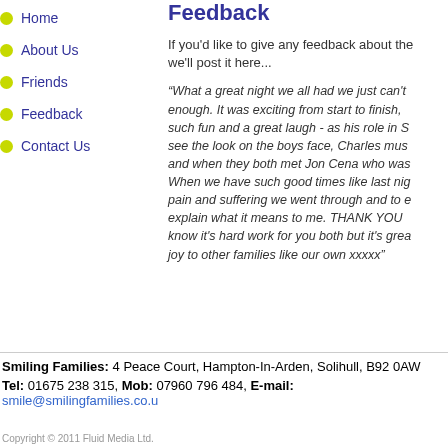Home
About Us
Friends
Feedback
Contact Us
Feedback
If you'd like to give any feedback about the we'll post it here...
“What a great night we all had we just can't enough. It was exciting from start to finish, such fun and a great laugh - as his role in S see the look on the boys face, Charles mus and when they both met Jon Cena who was When we have such good times like last nig pain and suffering we went through and to e explain what it means to me. THANK YOU know it's hard work for you both but it's grea joy to other families like our own xxxxx”
Smiling Families: 4 Peace Court, Hampton-In-Arden, Solihull, B92 0AW
Tel: 01675 238 315, Mob: 07960 796 484, E-mail: smile@smilingfamilies.co.u
Copyright © 2011 Fluid Media Ltd.